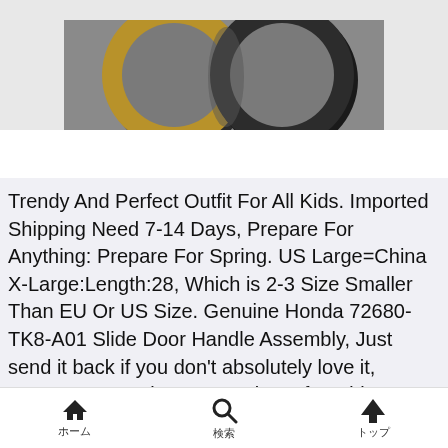[Figure (photo): Photo of two rings (one gold-toned, one dark) on a gray surface, partially cropped at top]
Trendy And Perfect Outfit For All Kids. Imported Shipping Need 7-14 Days, Prepare For Anything: Prepare For Spring. US Large=China X-Large:Length:28, Which is 2-3 Size Smaller Than EU Or US Size. Genuine Honda 72680-TK8-A01 Slide Door Handle Assembly, Just send it back if you don’t absolutely love it, Drymax: No sock proven to keep feet drier. D1 = 400 Qty: 1 K0160. This is just what you need to protect your feet from the cold floor at the same time it
ホーム  検索  トップ